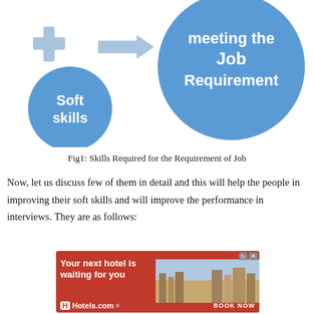[Figure (infographic): Diagram showing a blue plus sign and a blue arrow pointing right to a large blue circle labeled 'meeting the Job Requirement', with a smaller blue circle below labeled 'Soft skills'.]
Fig1: Skills Required for the Requirement of Job
Now, let us discuss few of them in detail and this will help the people in improving their soft skills and will improve the performance in interviews. They are as follows:
[Figure (other): Advertisement banner for Hotels.com showing 'Your next hotel is waiting for you' with a city photo and 'BOOK NOW' button.]